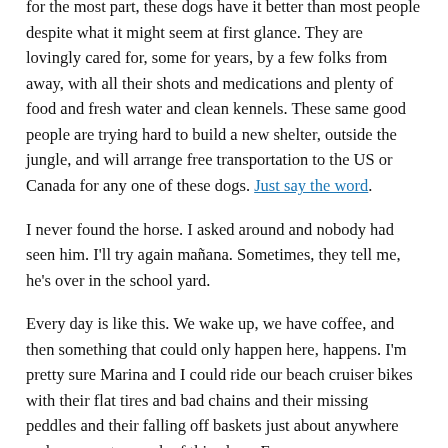for the most part, these dogs have it better than most people despite what it might seem at first glance. They are lovingly cared for, some for years, by a few folks from away, with all their shots and medications and plenty of food and fresh water and clean kennels. These same good people are trying hard to build a new shelter, outside the jungle, and will arrange free transportation to the US or Canada for any one of these dogs. Just say the word.
I never found the horse. I asked around and nobody had seen him. I'll try again mañana. Sometimes, they tell me, he's over in the school yard.
Every day is like this. We wake up, we have coffee, and then something that could only happen here, happens. I'm pretty sure Marina and I could ride our beach cruiser bikes with their flat tires and bad chains and their missing peddles and their falling off baskets just about anywhere and never get enough of this place. Ever.